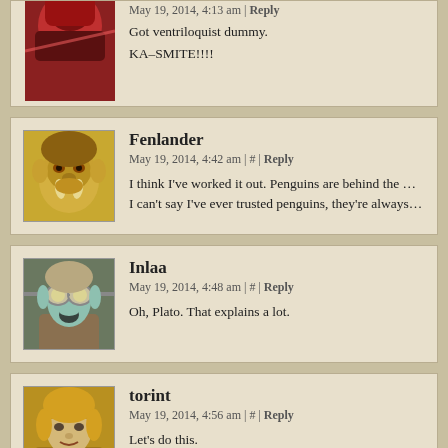[Figure (illustration): Partial comic-style avatar of a character with red/dark colors, cropped at top]
May 19, 2014, 4:13 am | Reply
Got ventriloquist dummy.
KA–SMITE!!!!
[Figure (illustration): Comic-style avatar of an orc/troll character with yellow-green skin and tusks]
Fenlander
May 19, 2014, 4:42 am | # | Reply
I think I've worked it out. Penguins are behind the whole conspiracy, th... I can't say I've ever trusted penguins, they're always looking round to s...
[Figure (illustration): Comic-style avatar of an elf character with goggles and blue/teal hair]
Inlaa
May 19, 2014, 4:48 am | # | Reply
Oh, Plato. That explains a lot.
[Figure (illustration): Comic-style avatar of a character with blonde/golden hair and headband]
torint
May 19, 2014, 4:56 am | # | Reply
Let's do this.
[Figure (illustration): Partial comic-style avatar visible at bottom, partially cropped]